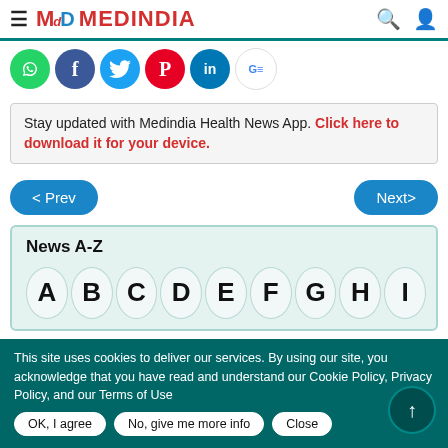MedIndia
[Figure (screenshot): Social sharing icons row: WhatsApp, Facebook, Twitter, Pinterest, LinkedIn, Google News]
Stay updated with Medindia Health News App. Click here to download it for your device.
< Prev   Next>
News A-Z
A B C D E F G H I
This site uses cookies to deliver our services. By using our site, you acknowledge that you have read and understand our Cookie Policy, Privacy Policy, and our Terms of Use
OK, I agree   No, give me more info   Close